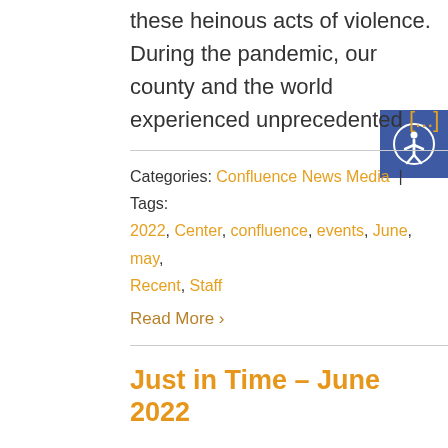these heinous acts of violence. During the pandemic, our county and the world experienced unprecedented [...]
Categories: Confluence News Media | Tags: 2022, Center, confluence, events, June, may, Recent, Staff
Read More >
Just in Time – June 2022
Just in Time by Jim Mullen Emergency Management, Once Removed For years,